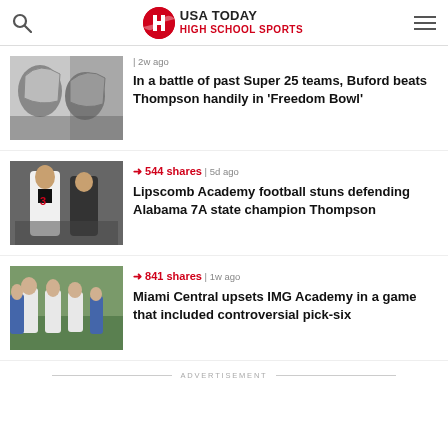USA TODAY HIGH SCHOOL SPORTS
| 2w ago
[Figure (photo): Football helmets clashing on field]
In a battle of past Super 25 teams, Buford beats Thompson handily in 'Freedom Bowl'
→ 544 shares | 5d ago
[Figure (photo): Football player wearing jersey number 3 running with ball]
Lipscomb Academy football stuns defending Alabama 7A state champion Thompson
→ 841 shares | 1w ago
[Figure (photo): Football team walking on field in white uniforms]
Miami Central upsets IMG Academy in a game that included controversial pick-six
ADVERTISEMENT